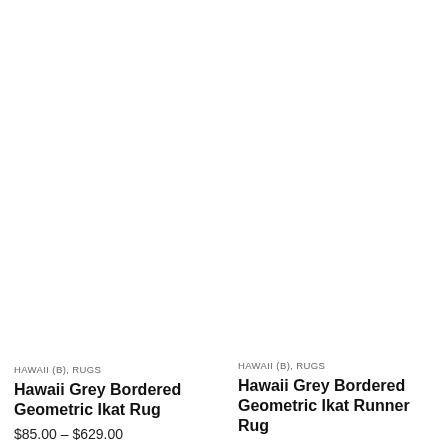[Figure (other): Hamburger menu icon (three horizontal lines) in top right corner]
[Figure (photo): Product image area for Hawaii Grey Bordered Geometric Ikat Rug (left column, blank/white)]
HAWAII (B), RUGS
Hawaii Grey Bordered Geometric Ikat Rug
$85.00 – $629.00
[Figure (photo): Product image area for Hawaii Grey Bordered Geometric Ikat Runner Rug (right column, blank/white)]
HAWAII (B), RUGS
Hawaii Grey Bordered Geometric Ikat Runner Rug